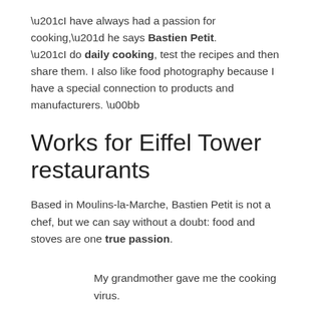“I have always had a passion for cooking,” he says Bastien Petit. “I do daily cooking, test the recipes and then share them. I also like food photography because I have a special connection to products and manufacturers. »
Works for Eiffel Tower restaurants
Based in Moulins-la-Marche, Bastien Petit is not a chef, but we can say without a doubt: food and stoves are one true passion.
My grandmother gave me the cooking virus.
Bastien Petit
“I often spent holidays with him when I was a child and a teenager. I remember when I got up in the morning, she was already